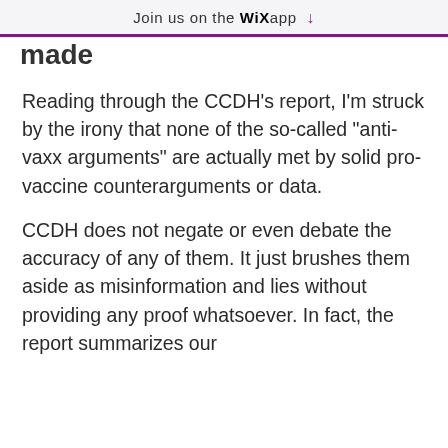Join us on the WiX app ↓
made
Reading through the CCDH's report, I'm struck by the irony that none of the so-called "anti-vaxx arguments" are actually met by solid pro-vaccine counterarguments or data.
CCDH does not negate or even debate the accuracy of any of them. It just brushes them aside as misinformation and lies without providing any proof whatsoever. In fact, the report summarizes our